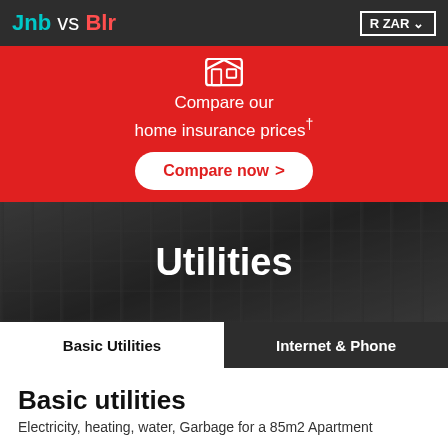Jnb vs Blr  R ZAR
[Figure (infographic): Red insurance banner with house icon, text 'Compare our home insurance prices†' and a 'Compare now >' button]
Utilities
Basic Utilities   Internet & Phone
Basic utilities
Electricity, heating, water, Garbage for a 85m2 Apartment
Bangalore